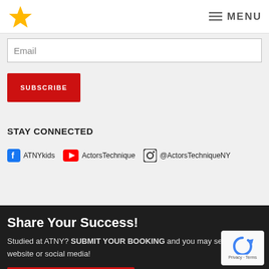[Figure (logo): Yellow star logo top left, hamburger menu icon with MENU text top right]
Email
SUBSCRIBE
STAY CONNECTED
ATNYkids   ActorsTechnique   @ActorsTechniqueNY
Share Your Success!
Studied at ATNY? SUBMIT YOUR BOOKING and you may see it on our website or social media!
SHARE YOUR BOOKING